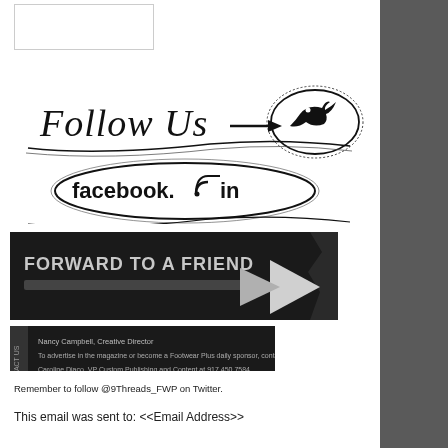[Figure (illustration): Follow Us graphic with handwritten text, arrow, Twitter bird icon, and a Facebook/RSS/LinkedIn oval badge]
[Figure (other): Dark banner reading FORWARD TO A FRIEND with a large white arrow]
[Figure (other): Dark banner with staff names including Nancy Campbell Creative Director and advertising contact information for Caroline Diaco VP Custom Publishing and Caroline at 917.450.7584 and Jennifer Craig Associate Publisher at 917.589.7545]
Remember to follow @9Threads_FWP on Twitter.
This email was sent to: <<Email Address>>